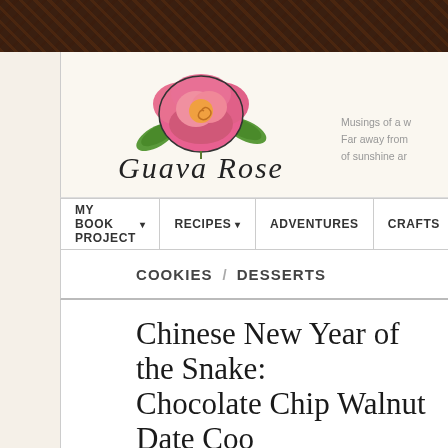[Figure (logo): Guava Rose blog logo with illustrated pink rose and cursive script text]
Musings of a w... Far away from... of sunshine ar...
MY BOOK PROJECT  RECIPES  ADVENTURES  CRAFTS
COOKIES / DESSERTS
Chinese New Year of the Snake: Chocolate Chip Walnut Date Coo...
by LORI on Feb 4, 2013 · 8:53 am